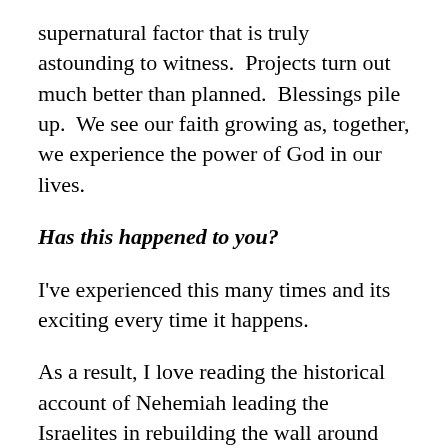supernatural factor that is truly astounding to witness.  Projects turn out much better than planned.  Blessings pile up.  We see our faith growing as, together, we experience the power of God in our lives.
Has this happened to you?
I've experienced this many times and its exciting every time it happens.
As a result, I love reading the historical account of Nehemiah leading the Israelites in rebuilding the wall around Jerusalem.  The Jews were being attacked regularly by